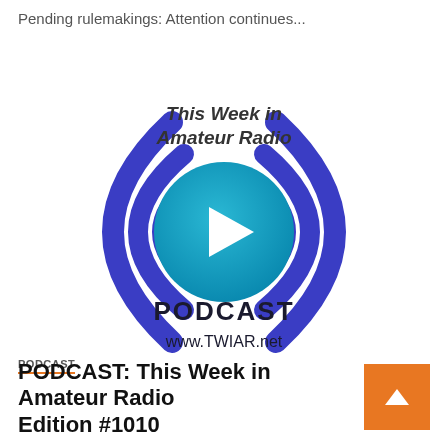Pending rulemakings: Attention continues...
[Figure (logo): This Week in Amateur Radio Podcast logo with radio wave arcs in blue on left and right, a teal play button circle in the center, text 'This Week in Amateur Radio' at top, 'PODCAST' and 'www.TWIAR.net' at bottom]
PODCAST
PODCAST: This Week in Amateur Radio Edition #1010